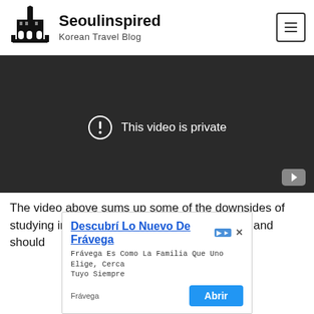Seoulinspired — Korean Travel Blog
[Figure (screenshot): YouTube video embed showing 'This video is private' message on dark background with YouTube play button in lower right corner]
The video above sums up some of the downsides of studying in Korea. The video is quite negative and should
[Figure (screenshot): Advertisement for Frávega: 'Descubrí Lo Nuevo De Frávega' with subtitle 'Frávega Es Como La Familia Que Uno Elige, Cerca Tuyo Siempre' and 'Abrir' button]